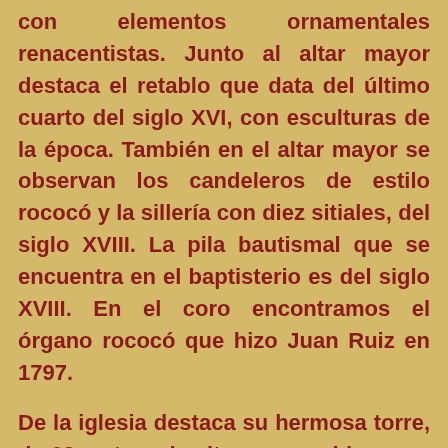con elementos ornamentales renacentistas. Junto al altar mayor destaca el retablo que data del último cuarto del siglo XVI, con esculturas de la época. También en el altar mayor se observan los candeleros de estilo rococó y la sillería con diez sitiales, del siglo XVIII. La pila bautismal que se encuentra en el baptisterio es del siglo XVIII. En el coro encontramos el órgano rococó que hizo Juan Ruiz en 1797.
De la iglesia destaca su hermosa torre, de 62 metros de altura, conocida como "la Giralda de Castilla", la cual se eleva sobre un zócalo